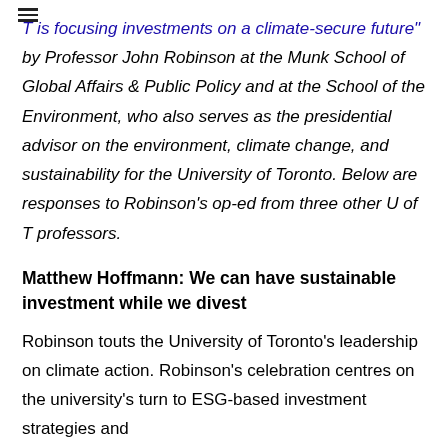T is focusing investments on a climate-secure future" by Professor John Robinson at the Munk School of Global Affairs & Public Policy and at the School of the Environment, who also serves as the presidential advisor on the environment, climate change, and sustainability for the University of Toronto. Below are responses to Robinson's op-ed from three other U of T professors.
Matthew Hoffmann: We can have sustainable investment while we divest
Robinson touts the University of Toronto's leadership on climate action. Robinson's celebration centres on the university's turn to ESG-based investment strategies and